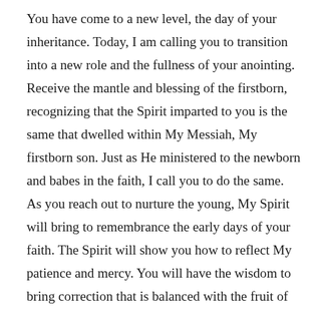You have come to a new level, the day of your inheritance. Today, I am calling you to transition into a new role and the fullness of your anointing. Receive the mantle and blessing of the firstborn, recognizing that the Spirit imparted to you is the same that dwelled within My Messiah, My firstborn son. Just as He ministered to the newborn and babes in the faith, I call you to do the same. As you reach out to nurture the young, My Spirit will bring to remembrance the early days of your faith. The Spirit will show you how to reflect My patience and mercy. You will have the wisdom to bring correction that is balanced with the fruit of gentleness. You will teach others what I have taught you, and you will impart the same comfort that I have imparted to you. Even more, you will set many